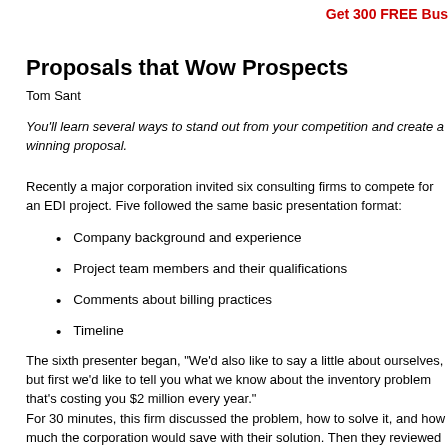Get 300 FREE Bus
Proposals that Wow Prospects
Tom Sant
You'll learn several ways to stand out from your competition and create a winning proposal.
Recently a major corporation invited six consulting firms to compete for an EDI project. Five followed the same basic presentation format:
Company background and experience
Project team members and their qualifications
Comments about billing practices
Timeline
The sixth presenter began, "We'd also like to say a little about ourselves, but first we'd like to tell you what we know about the inventory problem that's costing you $2 million every year."
For 30 minutes, this firm discussed the problem, how to solve it, and how much the corporation would save with their solution. Then they reviewed their own qualifications and staff's strengths. Later when the selection team gathered to choose a vendor, they had just one question, "Does anybody have any doubts ab